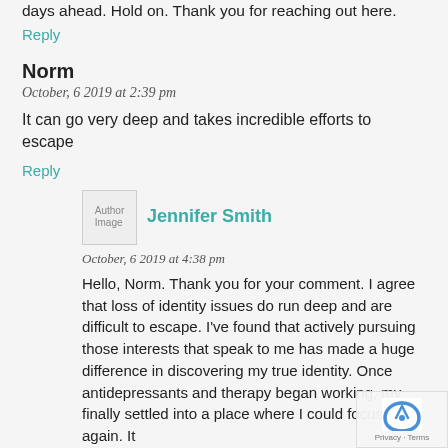days ahead. Hold on. Thank you for reaching out here.
Reply
Norm
October, 6 2019 at 2:39 pm
It can go very deep and takes incredible efforts to escape
Reply
[Figure (photo): Author Image placeholder]
Jennifer Smith
October, 6 2019 at 4:38 pm
Hello, Norm. Thank you for your comment. I agree that loss of identity issues do run deep and are difficult to escape. I've found that actively pursuing those interests that speak to me has made a huge difference in discovering my true identity. Once antidepressants and therapy began working, my finally settled into a place where I could focus again. It